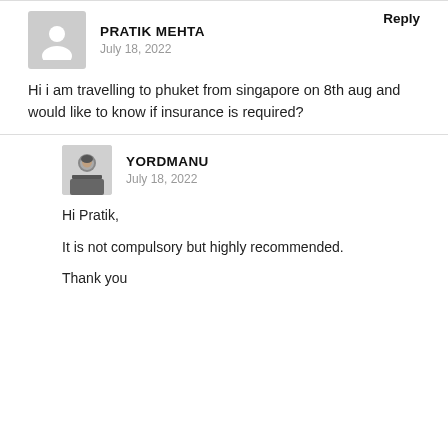PRATIK MEHTA
July 18, 2022
Reply
Hi i am travelling to phuket from singapore on 8th aug and would like to know if insurance is required?
YORDMANU
July 18, 2022
Hi Pratik,

It is not compulsory but highly recommended.

Thank you